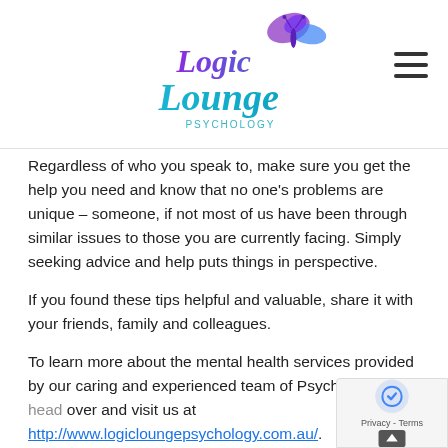[Figure (logo): Logic Lounge Psychology logo with butterfly graphic, purple and teal script lettering]
Regardless of who you speak to, make sure you get the help you need and know that no one's problems are unique – someone, if not most of us have been through similar issues to those you are currently facing. Simply seeking advice and help puts things in perspective.
If you found these tips helpful and valuable, share it with your friends, family and colleagues.
To learn more about the mental health services provided by our caring and experienced team of Psychologists, head over and visit us at http://www.logicloungepsychology.com.au/.